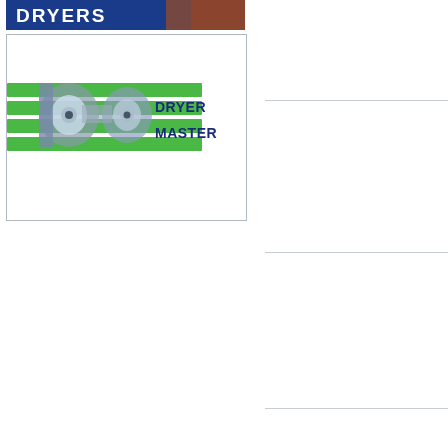[Figure (logo): DRYERS banner with blue background and white bold text, partial orange/red equipment image on right side]
[Figure (logo): Dryer Master company logo inside bordered box. Shows 'dm' letters with industrial dryer equipment image, green horizontal stripes, and DRYER MASTER text in dark blue on right side.]